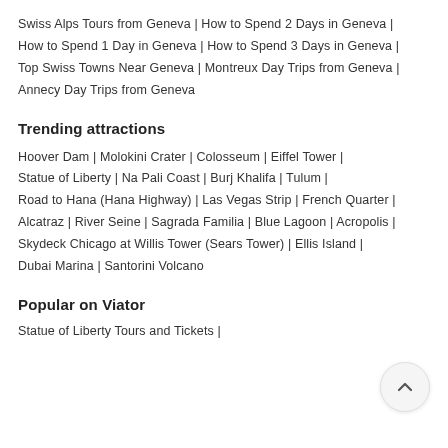Swiss Alps Tours from Geneva | How to Spend 2 Days in Geneva | How to Spend 1 Day in Geneva | How to Spend 3 Days in Geneva | Top Swiss Towns Near Geneva | Montreux Day Trips from Geneva | Annecy Day Trips from Geneva
Trending attractions
Hoover Dam | Molokini Crater | Colosseum | Eiffel Tower | Statue of Liberty | Na Pali Coast | Burj Khalifa | Tulum | Road to Hana (Hana Highway) | Las Vegas Strip | French Quarter | Alcatraz | River Seine | Sagrada Familia | Blue Lagoon | Acropolis | Skydeck Chicago at Willis Tower (Sears Tower) | Ellis Island | Dubai Marina | Santorini Volcano
Popular on Viator
Statue of Liberty Tours and Tickets |